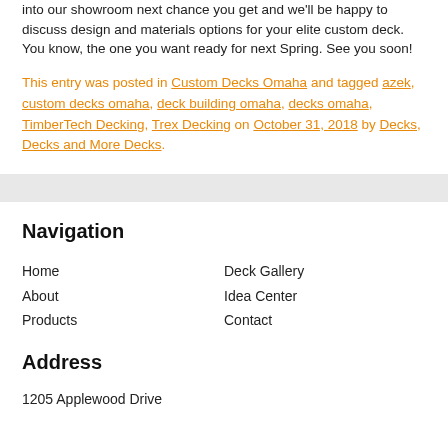into our showroom next chance you get and we'll be happy to discuss design and materials options for your elite custom deck. You know, the one you want ready for next Spring. See you soon!
This entry was posted in Custom Decks Omaha and tagged azek, custom decks omaha, deck building omaha, decks omaha, TimberTech Decking, Trex Decking on October 31, 2018 by Decks, Decks and More Decks.
Navigation
Home
About
Products
Deck Gallery
Idea Center
Contact
Address
1205 Applewood Drive